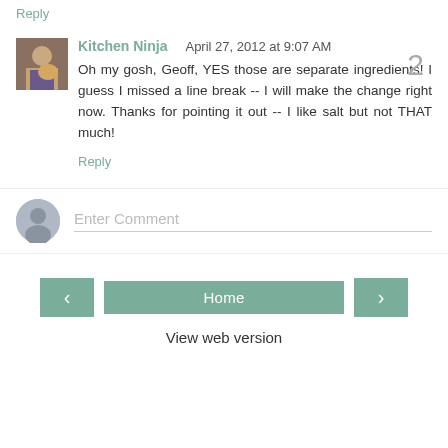Reply
Kitchen Ninja   April 27, 2012 at 9:07 AM
Oh my gosh, Geoff, YES those are separate ingredients! I guess I missed a line break -- I will make the change right now. Thanks for pointing it out -- I like salt but not THAT much!
Reply
Enter Comment
Home
View web version